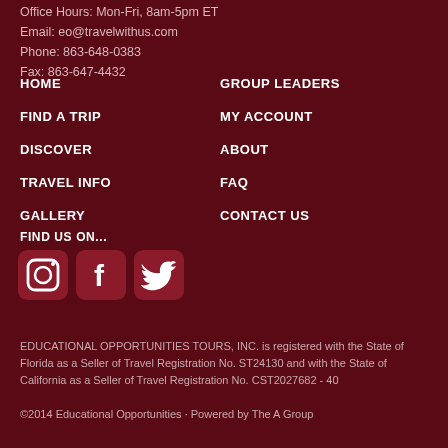Office Hours: Mon-Fri, 8am-5pm ET
Email: eo@travelwithus.com
Phone: 863-648-0383
Fax: 863-647-4432
HOME
FIND A TRIP
DISCOVER
TRAVEL INFO
GALLERY
GROUP LEADERS
MY ACCOUNT
ABOUT
FAQ
CONTACT US
FIND US ON...
[Figure (logo): Instagram, Facebook, and Twitter social media icons in rounded square style]
EDUCATIONAL OPPORTUNITIES TOURS, INC. is registered with the State of Florida as a Seller of Travel Registration No. ST24130 and with the State of California as a Seller of Travel Registration No. CST2027682 - 40
©2014 Educational Opportunities · Powered by The A Group